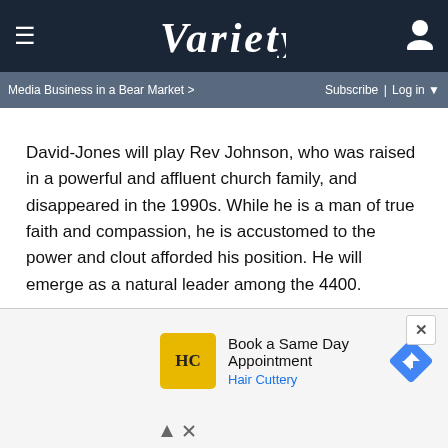VARIETY
Media Business in a Bear Market >    Subscribe | Log in ▼
David-Jones will play Rev Johnson, who was raised in a powerful and affluent church family, and disappeared in the 1990s. While he is a man of true faith and compassion, he is accustomed to the power and clout afforded his position. He will emerge as a natural leader among the 4400.
Johnson will play LaDonna, a high maintenance Miami party girl who disappeared on her 21st birthday. While she at first comes across as spoiled and vapid, she will end up tapping into her own potential in ways she never expected.
[Figure (other): Advertisement: Hair Cuttery - Book a Same Day Appointment]